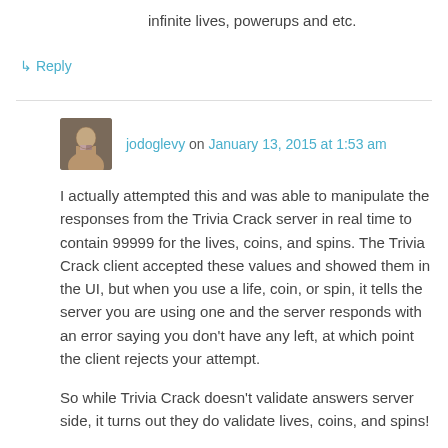infinite lives, powerups and etc.
↳ Reply
jodoglevy on January 13, 2015 at 1:53 am
I actually attempted this and was able to manipulate the responses from the Trivia Crack server in real time to contain 99999 for the lives, coins, and spins. The Trivia Crack client accepted these values and showed them in the UI, but when you use a life, coin, or spin, it tells the server you are using one and the server responds with an error saying you don't have any left, at which point the client rejects your attempt.

So while Trivia Crack doesn't validate answers server side, it turns out they do validate lives, coins, and spins!